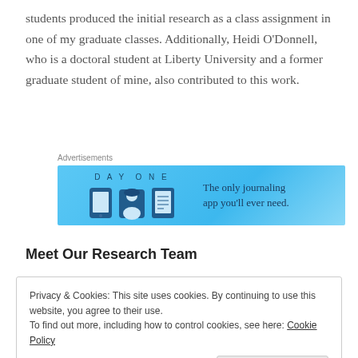students produced the initial research as a class assignment in one of my graduate classes. Additionally, Heidi O'Donnell, who is a doctoral student at Liberty University and a former graduate student of mine, also contributed to this work.
[Figure (other): Day One journaling app advertisement banner with blue background, app icons, and tagline 'The only journaling app you'll ever need.']
Meet Our Research Team
Privacy & Cookies: This site uses cookies. By continuing to use this website, you agree to their use.
To find out more, including how to control cookies, see here: Cookie Policy
Close and accept